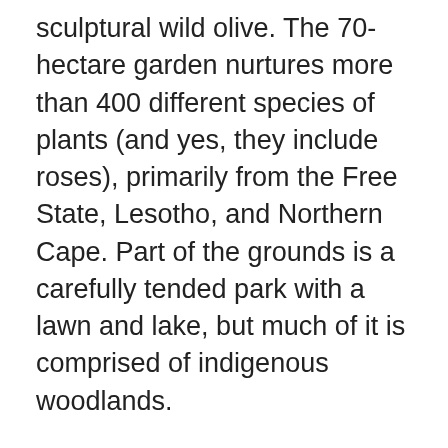sculptural wild olive. The 70-hectare garden nurtures more than 400 different species of plants (and yes, they include roses), primarily from the Free State, Lesotho, and Northern Cape. Part of the grounds is a carefully tended park with a lawn and lake, but much of it is comprised of indigenous woodlands.
Other highlights of the garden include a replica of an ancient settler's cottage, a traditional Sotho hut with a herb garden, red-hot pokers native to this region, and a bird hide overlooking the lake where visitors might spot some of the 144 species recorded in the park. While wandering along the self-guided wilderness trails, keep an eye out for some of the park's small reptiles and mammals such as mongooses. After exploring the park, visitors can